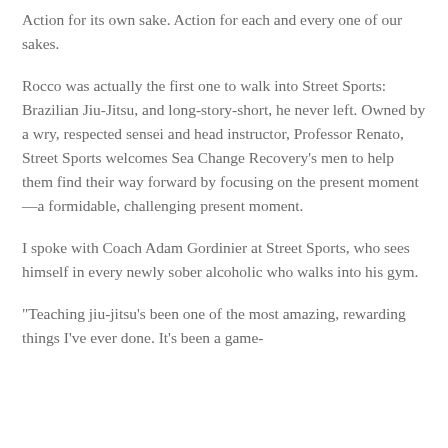Action for its own sake. Action for each and every one of our sakes.
Rocco was actually the first one to walk into Street Sports: Brazilian Jiu-Jitsu, and long-story-short, he never left. Owned by a wry, respected sensei and head instructor, Professor Renato, Street Sports welcomes Sea Change Recovery's men to help them find their way forward by focusing on the present moment—a formidable, challenging present moment.
I spoke with Coach Adam Gordinier at Street Sports, who sees himself in every newly sober alcoholic who walks into his gym.
“Teaching jiu-jitsu’s been one of the most amazing, rewarding things I’ve ever done. It’s been a game-